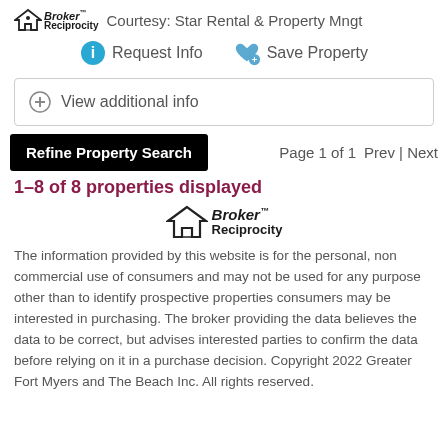Broker Reciprocity - Courtesy: Star Rental & Property Mngt
Request Info   Save Property
View additional info
Refine Property Search   Page 1 of 1   Prev | Next
1–8 of 8 properties displayed
[Figure (logo): Broker Reciprocity logo centered]
The information provided by this website is for the personal, non commercial use of consumers and may not be used for any purpose other than to identify prospective properties consumers may be interested in purchasing. The broker providing the data believes the data to be correct, but advises interested parties to confirm the data before relying on it in a purchase decision. Copyright 2022 Greater Fort Myers and The Beach Inc. All rights reserved.